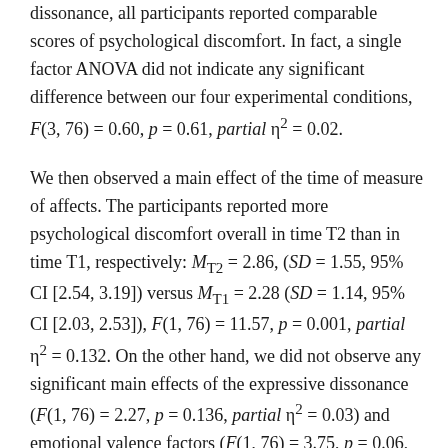dissonance, all participants reported comparable scores of psychological discomfort. In fact, a single factor ANOVA did not indicate any significant difference between our four experimental conditions, F(3, 76) = 0.60, p = 0.61, partial η² = 0.02.
We then observed a main effect of the time of measure of affects. The participants reported more psychological discomfort overall in time T2 than in time T1, respectively: M_T2 = 2.86, (SD = 1.55, 95% CI [2.54, 3.19]) versus M_T1 = 2.28 (SD = 1.14, 95% CI [2.03, 2.53]), F(1, 76) = 11.57, p = 0.001, partial η² = 0.132. On the other hand, we did not observe any significant main effects of the expressive dissonance (F(1, 76) = 2.27, p = 0.136, partial η² = 0.03) and emotional valence factors (F(1, 76) = 3.75, p = 0.06, partial η² = 0.05)